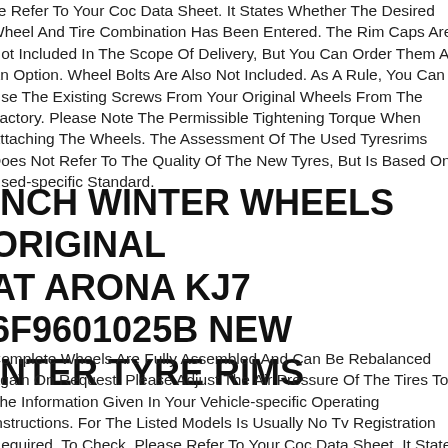se Refer To Your Coc Data Sheet. It States Whether The Desired Wheel And Tire Combination Has Been Entered. The Rim Caps Are Not Included In The Scope Of Delivery, But You Can Order Them As An Option. Wheel Bolts Are Also Not Included. As A Rule, You Can Use The Existing Screws From Your Original Wheels From The Factory. Please Note The Permissible Tightening Torque When Attaching The Wheels. The Assessment Of The Used Tyresrims Does Not Refer To The Quality Of The New Tyres, But Is Based On Used-specific Standard.
INCH WINTER WHEELS ORIGINAL AT ARONA KJ7 6F9601025B NEW INTER TYRE RIMS
Complete Wheels Are Fully Assembled And Can Be Rebalanced Again On Request. Please Adjust The Air Pressure Of The Tires To The Information Given In Your Vehicle-specific Operating Instructions. For The Listed Models Is Usually No Tv Registration Required. To Check, Please Refer To Your Coc Data Sheet. It States Whether The Desired Wheel And Tire Combination Has Been Entered. The Rim Caps Are Not Included In The Scope Of Delivery, But You Can Order Them As An Option. Wheel Bolts Are Also Not Included. As A Rule, You Can Use The Existing Screws From Your Original Wheels From The Factory. Please Note The Permissible Tightening Torque When Attaching The Wheels. The Assessment Of The Used Tyresrims Does Not Refer To The Quality Of The New Tyres, But Is Based On Used-specific Standards.